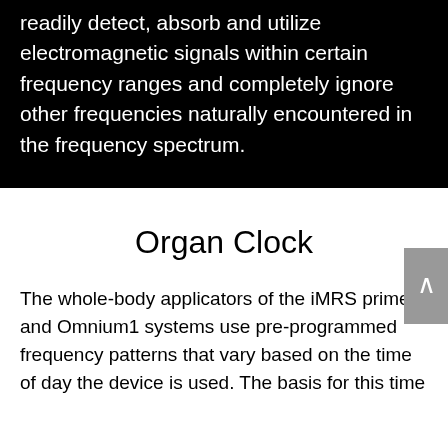readily detect, absorb and utilize electromagnetic signals within certain frequency ranges and completely ignore other frequencies naturally encountered in the frequency spectrum.
Organ Clock
The whole-body applicators of the iMRS prime and Omnium1 systems use pre-programmed frequency patterns that vary based on the time of day the device is used. The basis for this time